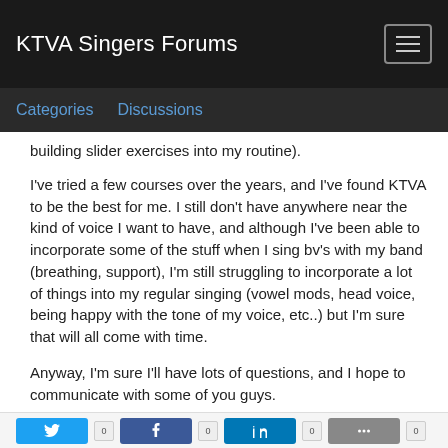KTVA Singers Forums
Categories   Discussions
building slider exercises into my routine).
I've tried a few courses over the years, and I've found KTVA to be the best for me. I still don't have anywhere near the kind of voice I want to have, and although I've been able to incorporate some of the stuff when I sing bv's with my band (breathing, support), I'm still struggling to incorporate a lot of things into my regular singing (vowel mods, head voice, being happy with the tone of my voice, etc..) but I'm sure that will all come with time.
Anyway, I'm sure I'll have lots of questions, and I hope to communicate with some of you guys.
Cheers,
Pete.
[Figure (other): Social share buttons: Twitter, Facebook, LinkedIn, and another share button with counters]